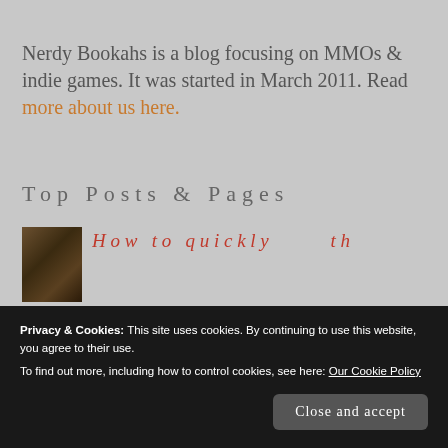Nerdy Bookahs is a blog focusing on MMOs & indie games. It was started in March 2011. Read more about us here.
Top Posts & Pages
[Figure (photo): Partial thumbnail image of a blog post, appears to be a dark fantasy or game screenshot]
Privacy & Cookies: This site uses cookies. By continuing to use this website, you agree to their use.
To find out more, including how to control cookies, see here: Our Cookie Policy
Close and accept